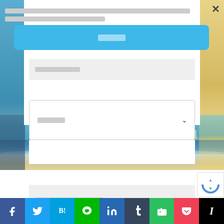[redacted text block - modal title/description]
[Figure (screenshot): Blue button with redacted text label]
[Figure (screenshot): Gray input field with redacted placeholder text, partially visible]
[Figure (screenshot): Dropdown selector with redacted text and chevron]
[Figure (photo): Beach/ocean photo strip background]
[Figure (screenshot): White and gray content section below beach image with redacted text]
[Figure (screenshot): reCAPTCHA badge bottom right]
[Figure (screenshot): Social sharing bar with Facebook, Twitter, Hatena Bookmark, LINE, LinkedIn, Tumblr, Evernote, Pocket, Instapaper icons]